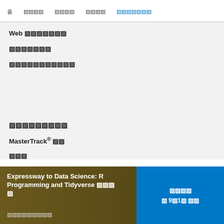홈   탐색   무엇을   무엇을   커뮤니티
Web 개발자되기
프로젝트
학업 성취도 분석
학위 취득
MasterTrack® 수료
학위
Expressway to Data Science: R Programming and Tidyverse 전문 분야
무료로시작하기
무료 등록
월 9월1일 시작